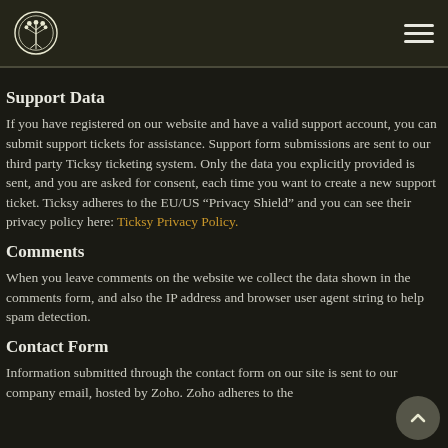[Logo] [Hamburger menu]
Support Data
If you have registered on our website and have a valid support account, you can submit support tickets for assistance. Support form submissions are sent to our third party Ticksy ticketing system. Only the data you explicitly provided is sent, and you are asked for consent, each time you want to create a new support ticket. Ticksy adheres to the EU/US “Privacy Shield” and you can see their privacy policy here: Ticksy Privacy Policy.
Comments
When you leave comments on the website we collect the data shown in the comments form, and also the IP address and browser user agent string to help spam detection.
Contact Form
Information submitted through the contact form on our site is sent to our company email, hosted by Zoho. Zoho adheres to the